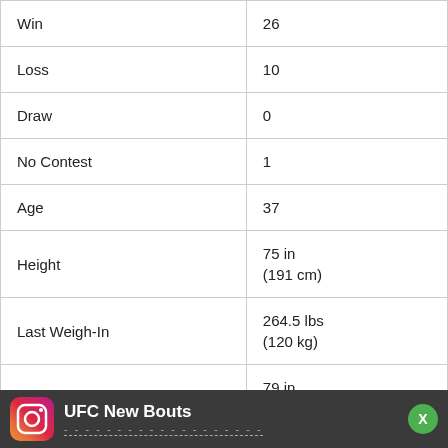| Win | 26 |
| Loss | 10 |
| Draw | 0 |
| No Contest | 1 |
| Age | 37 |
| Height | 75 in
(191 cm) |
| Last Weigh-In | 264.5 lbs
(120 kg) |
| Reach | 79 in
(201 cm) |
| Leg reach | 43.5 in
(110 cm) |
| Style | Boxing |
| Country |  |
UFC New Bouts